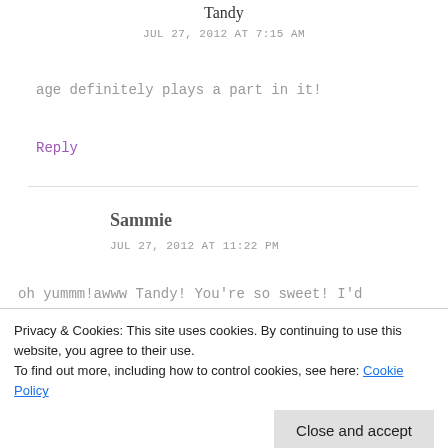Tandy
JUL 27, 2012 AT 7:15 AM
age definitely plays a part in it!
Reply
Sammie
JUL 27, 2012 AT 11:22 PM
oh yummm!awww Tandy! You're so sweet! I'd
Privacy & Cookies: This site uses cookies. By continuing to use this website, you agree to their use.
To find out more, including how to control cookies, see here: Cookie Policy
Close and accept
baked into a tart:: Funny::